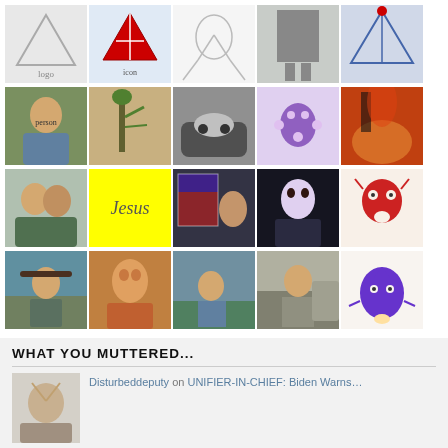[Figure (photo): Grid of user avatar profile pictures and icons, 5 columns by 4 rows. Row 1: cartoon/logo avatars. Row 2: photos of people, cactus, car, cartoon alien, fire scene. Row 3: two men photo, yellow 'Jesus' text box, American flag/person, anime-style portrait, red cartoon devil creature. Row 4: person fishing with hat, woman portrait orange-tinted, outdoor sitting scene, man near truck, purple heart cartoon character.]
WHAT YOU MUTTERED...
Disturbeddeputy on UNIFIER-IN-CHIEF: Biden Warns…
Disturbeddeputy on Concealing a Matter ....
thelonecactus1370 on Report: 71 Members of Congress…
MaddMedic on Report: 71 Members of